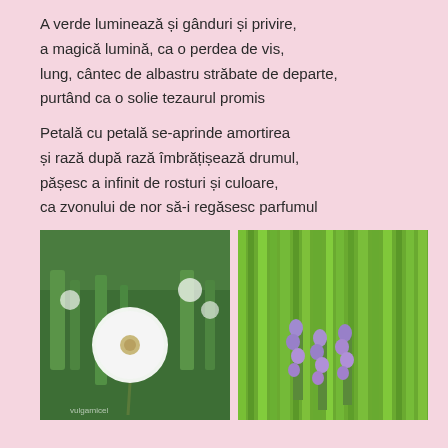A verde luminează și gânduri și privire,
a magică lumină, ca o perdea de vis,
lung, cântec de albastru străbate de departe,
purtând ca o solie tezaurul promis
Petală cu petală se-aprinde amortirea
și rază după rază îmbrățișează drumul,
pășesc a infinit de rosturi și culoare,
ca zvonului de nor să-i regăsesc parfumul
[Figure (photo): Close-up photo of a dandelion seed head (white fluffy ball) with green grass in the background, small dandelion seed heads also visible. Watermark text visible at bottom.]
[Figure (photo): Photo of green grass with small purple/lavender flowers (muscari or similar) growing among the blades of grass.]